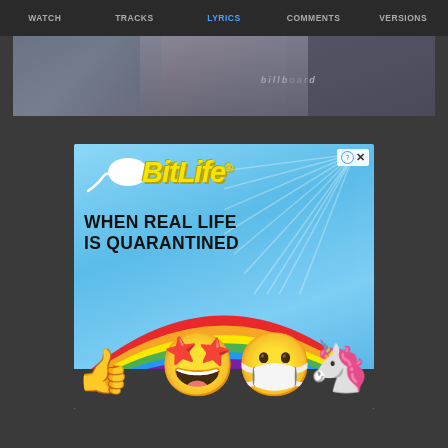WATCH | TRACKS | LYRICS | COMMENTS | VERSIONS
[Figure (screenshot): Video thumbnail showing a person wearing a black vest with a Billboard magazine logo visible]
[Figure (photo): BitLife app advertisement banner. Light blue background with sunburst rays. White sperm icon on left. BitLife logo in yellow italic bold font. Text reads WHEN REAL LIFE IS QUARANTINED. Bottom shows rainbow with star-eyes masked emoji and unicorn illustration. Thumbs up emoji on left.]